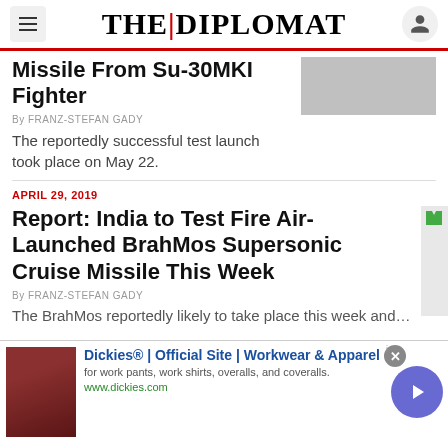THE DIPLOMAT
Missile From Su-30MKI Fighter
By FRANZ-STEFAN GADY
The reportedly successful test launch took place on May 22.
APRIL 29, 2019
Report: India to Test Fire Air-Launched BrahMos Supersonic Cruise Missile This Week
By FRANZ-STEFAN GADY
The reportedly...
[Figure (screenshot): Advertisement banner for Dickies Official Site - Workwear and Apparel]